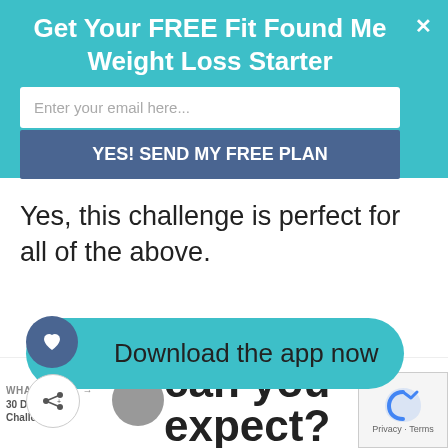Get Your FREE Fit Found Me Weight Loss Starter
Enter your email here...
YES! SEND MY FREE PLAN
Yes, this challenge is perfect for all of the above.
Download the app now
WHAT'S NEXT → 30 Day Fitness Challenge +...
results can you expect?